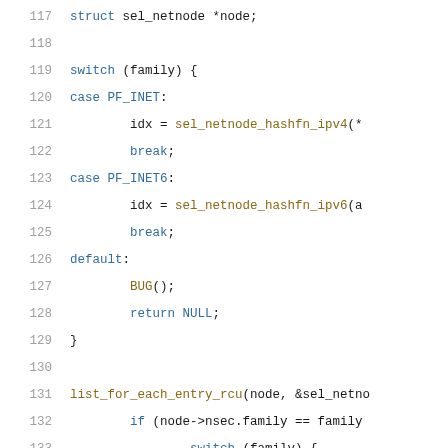Code listing lines 117-137 showing C source code with a switch statement on family (PF_INET, PF_INET6, default), calls to sel_netnode_hashfn_ipv4, sel_netnode_hashfn_ipv6, list_for_each_entry_rcu, and nested switch/if logic.